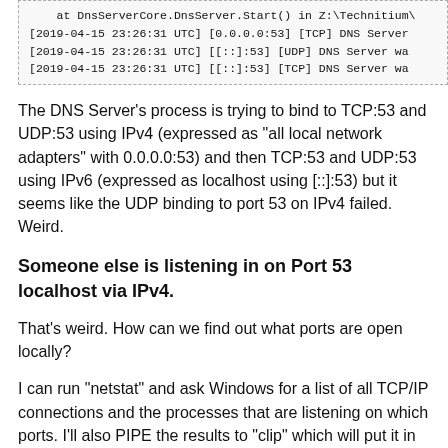[Figure (screenshot): Code/log output block showing DNS server startup log lines including timestamps and protocol info]
The DNS Server's process is trying to bind to TCP:53 and UDP:53 using IPv4 (expressed as "all local network adapters" with 0.0.0.0:53) and then TCP:53 and UDP:53 using IPv6 (expressed as localhost using [::]:53) but it seems like the UDP binding to port 53 on IPv4 failed. Weird.
Someone else is listening in on Port 53 localhost via IPv4.
That's weird. How can we find out what ports are open locally?
I can run "netstat" and ask Windows for a list of all TCP/IP connections and the processes that are listening on which ports. I'll also PIPE the results to "clip" which will put it in the clipboard automatically. Then I can look